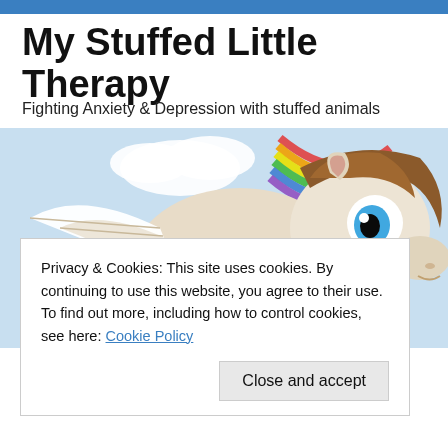My Stuffed Little Therapy
Fighting Anxiety & Depression with stuffed animals
[Figure (illustration): Cartoon My Little Pony style pegasus pony with brown mane and blue eye, flying against a sky background with rainbow and clouds]
Privacy & Cookies: This site uses cookies. By continuing to use this website, you agree to their use.
To find out more, including how to control cookies, see here: Cookie Policy
Close and accept